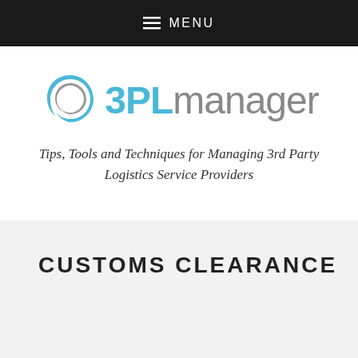MENU
[Figure (logo): 3PL Manager logo with stylized circular swirl icon in blue and gray, followed by '3PL' in blue bold text and 'manager' in gray regular text]
Tips, Tools and Techniques for Managing 3rd Party Logistics Service Providers
CUSTOMS CLEARANCE